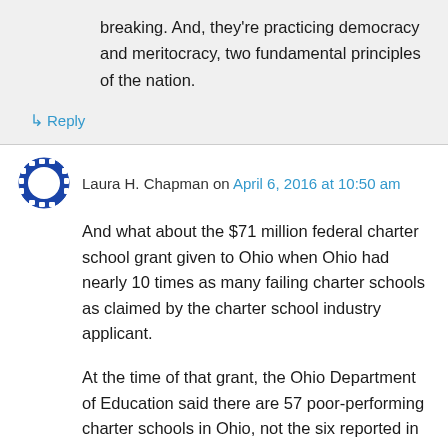breaking. And, they're practicing democracy and meritocracy, two fundamental principles of the nation.
↳ Reply
Laura H. Chapman on April 6, 2016 at 10:50 am
And what about the $71 million federal charter school grant given to Ohio when Ohio had nearly 10 times as many failing charter schools as claimed by the charter school industry applicant.
At the time of that grant, the Ohio Department of Education said there are 57 poor-performing charter schools in Ohio, not the six reported in its grant application submitted to federal officials in